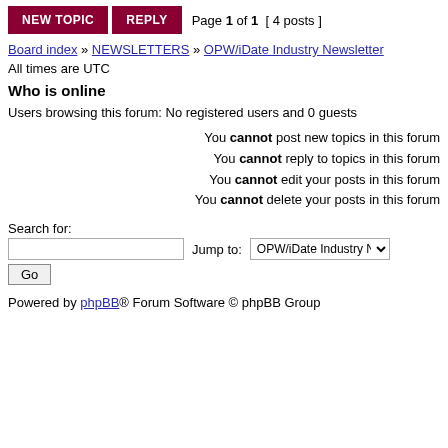Page 1 of 1 [ 4 posts ]
Board index » NEWSLETTERS » OPW/iDate Industry Newsletter
All times are UTC
Who is online
Users browsing this forum: No registered users and 0 guests
You cannot post new topics in this forum
You cannot reply to topics in this forum
You cannot edit your posts in this forum
You cannot delete your posts in this forum
Search for:
Jump to: OPW/iDate Industry Newsletter
Powered by phpBB® Forum Software © phpBB Group